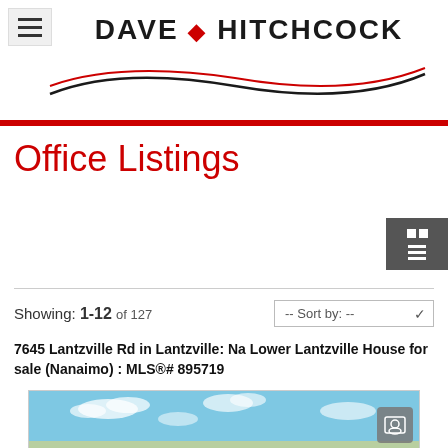DAVE HITCHCOCK
Office Listings
Showing: 1-12 of 127
7645 Lantzville Rd in Lantzville: Na Lower Lantzville House for sale (Nanaimo) : MLS®# 895719
[Figure (photo): Exterior photo of property showing blue sky with clouds]